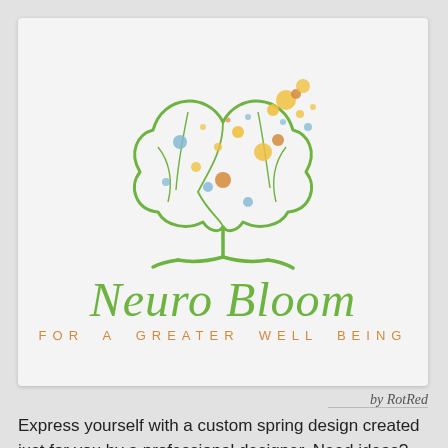[Figure (logo): Neuro Bloom logo: a green brain-shaped tree with colorful dots (blue, yellow, orange) floating above, on a trunk with roots. Below the tree: cursive green 'Neuro Bloom' and orange spaced tagline 'For A Greater Well Being'.]
by RotRed
Express yourself with a custom spring design created just for you by a professional designer. Need ideas? We've collected some amazing